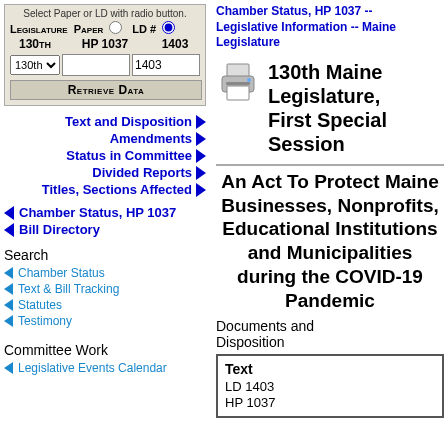[Figure (screenshot): Legislative bill lookup form with radio buttons for Paper/LD, dropdowns and text inputs for Legislature 130TH, Paper HP 1037, LD 1403, and a Retrieve Data button]
Chamber Status, HP 1037 -- Legislative Information -- Maine Legislature
130th Maine Legislature, First Special Session
Text and Disposition
Amendments
Status in Committee
Divided Reports
Titles, Sections Affected
Chamber Status, HP 1037
Bill Directory
Search
Chamber Status
Text & Bill Tracking
Statutes
Testimony
Committee Work
Legislative Events Calendar
An Act To Protect Maine Businesses, Nonprofits, Educational Institutions and Municipalities during the COVID-19 Pandemic
Documents and Disposition
| Text |
| --- |
| LD 1403 |
| HP 1037 |